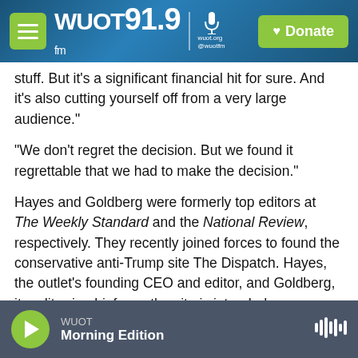WUOT 91.9 FM | Donate
stuff. But it's a significant financial hit for sure. And it's also cutting yourself off from a very large audience."
"We don't regret the decision. But we found it regrettable that we had to make the decision."
Hayes and Goldberg were formerly top editors at The Weekly Standard and the National Review, respectively. They recently joined forces to found the conservative anti-Trump site The Dispatch. Hayes, the outlet's founding CEO and editor, and Goldberg, its editor-in-chief, say the site is intended
WUOT
Morning Edition